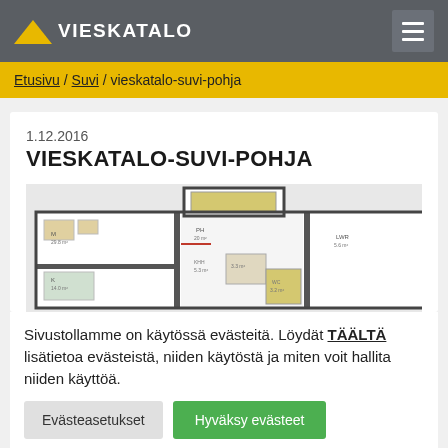VIESKATALO
Etusivu / Suvi / vieskatalo-suvi-pohja
1.12.2016
VIESKATALO-SUVI-POHJA
[Figure (engineering-diagram): Floor plan of Vieskatalo Suvi house, showing rooms layout with labeled areas including bedroom, living room, bathroom, and other spaces]
Sivustollamme on käytössä evästeitä. Löydät TÄÄLTÄ lisätietoa evästeistä, niiden käytöstä ja miten voit hallita niiden käyttöä.
Evästeasetukset
Hyväksy evästeet